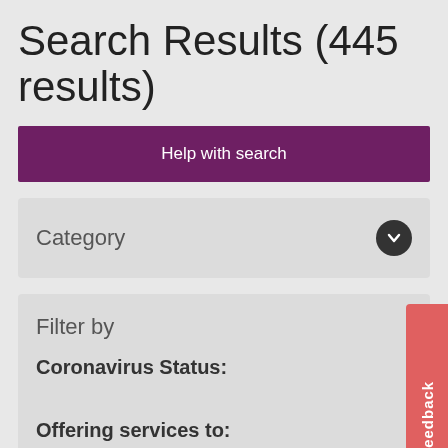Search Results (445 results)
Help with search
Category
Filter by
Coronavirus Status:
Offering services to:
Feedback
top